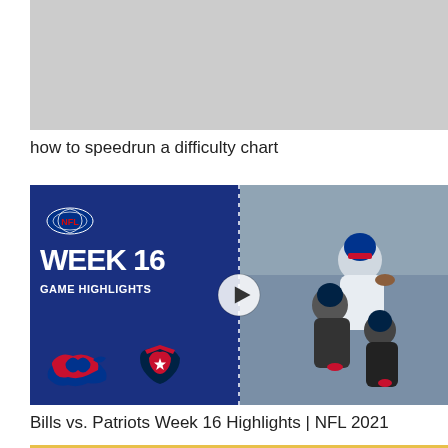[Figure (screenshot): Gray placeholder thumbnail for a video]
how to speedrun a difficulty chart
[Figure (screenshot): NFL Week 16 Game Highlights thumbnail showing Bills vs Patriots logos on dark blue background with football action photo on right side and a play button overlay]
Bills vs. Patriots Week 16 Highlights | NFL 2021
[Figure (screenshot): Thumbnail showing the word CANCELLED in large stylized letters on a yellow background]